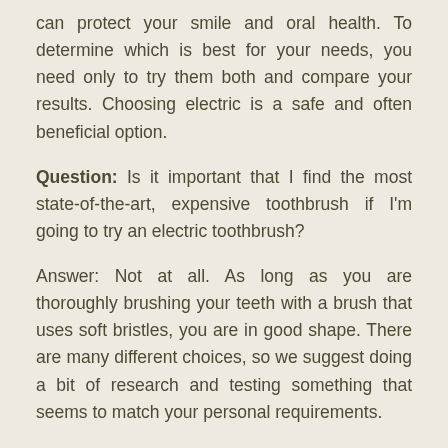can protect your smile and oral health. To determine which is best for your needs, you need only to try them both and compare your results. Choosing electric is a safe and often beneficial option.
Question: Is it important that I find the most state-of-the-art, expensive toothbrush if I'm going to try an electric toothbrush?
Answer: Not at all. As long as you are thoroughly brushing your teeth with a brush that uses soft bristles, you are in good shape. There are many different choices, so we suggest doing a bit of research and testing something that seems to match your personal requirements.
Question: What if I travel a lot? Will I have to bring a